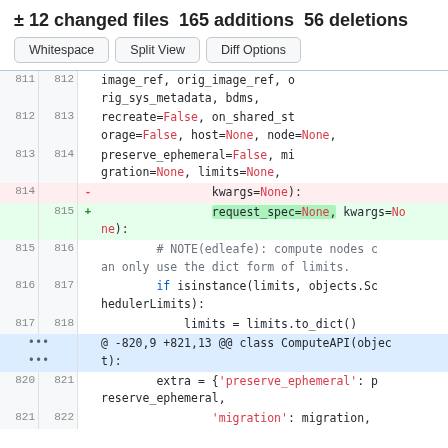± 12 changed files 165 additions 56 deletions
Buttons: Whitespace | Split View | Diff Options
| old | new | diff | code |
| --- | --- | --- | --- |
| 811 | 812 |  | image_ref, orig_image_ref, orig_sys_metadata, bdms, |
| 812 | 813 |  | recreate=False, on_shared_storage=False, host=None, node=None, |
| 813 | 814 |  | preserve_ephemeral=False, migration=None, limits=None, |
| 814 |  | - | kwargs=None): |
|  | 815 | + | request_spec=None, kwargs=None): |
| 815 | 816 |  | # NOTE(edleafe): compute nodes can only use the dict form of limits. |
| 816 | 817 |  | if isinstance(limits, objects.SchedulerLimits): |
| 817 | 818 |  | limits = limits.to_dict() |
|  |  |  | @ -820,9 +821,13 @@ class ComputeAPI(object): |
| 820 | 821 |  | extra = {'preserve_ephemeral': preserve_ephemeral, |
| 821 | 822 |  | 'migration': migration, |